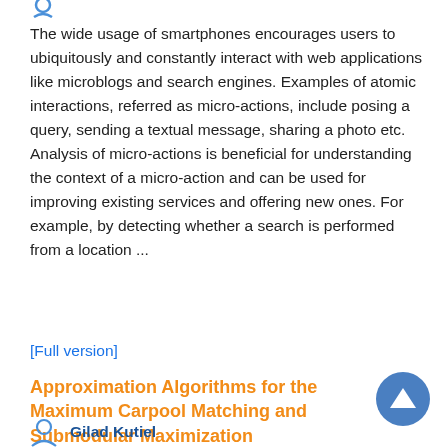The wide usage of smartphones encourages users to ubiquitously and constantly interact with web applications like microblogs and search engines. Examples of atomic interactions, referred as micro-actions, include posing a query, sending a textual message, sharing a photo etc. Analysis of micro-actions is beneficial for understanding the context of a micro-action and can be used for improving existing services and offering new ones. For example, by detecting whether a search is performed from a location ...
[Full version]
Approximation Algorithms for the Maximum Carpool Matching and Submodular Maximization
Gilad Kutiel